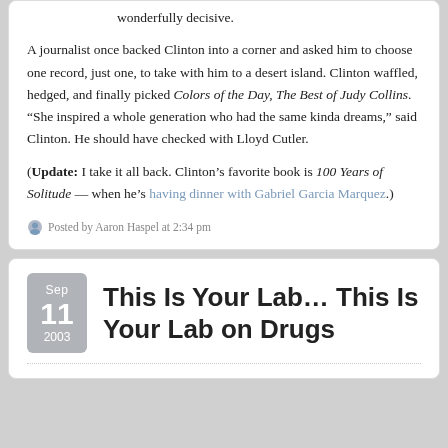wonderfully decisive.
A journalist once backed Clinton into a corner and asked him to choose one record, just one, to take with him to a desert island. Clinton waffled, hedged, and finally picked Colors of the Day, The Best of Judy Collins. “She inspired a whole generation who had the same kinda dreams,” said Clinton. He should have checked with Lloyd Cutler.
(Update: I take it all back. Clinton’s favorite book is 100 Years of Solitude — when he’s having dinner with Gabriel Garcia Marquez.)
Posted by Aaron Haspel at 2:34 pm
This Is Your Lab… This Is Your Lab on Drugs